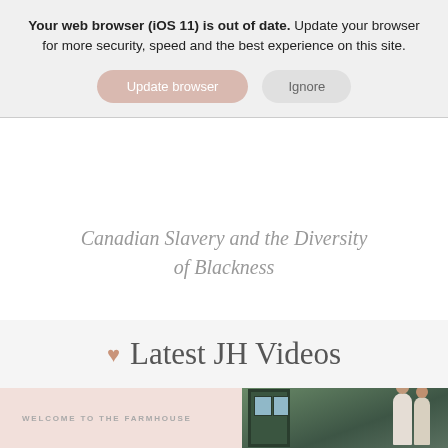Your web browser (iOS 11) is out of date. Update your browser for more security, speed and the best experience on this site.
[Figure (screenshot): Browser update banner with two buttons: 'Update browser' (pink/rose rounded button) and 'Ignore' (gray rounded button)]
Canadian Slavery and the Diversity of Blackness
♥ Latest JH Videos
[Figure (photo): Video thumbnail showing a pink left panel with text 'WELCOME TO THE FARMHOUSE' and a right panel photo of a couple standing in front of a green farmhouse door]